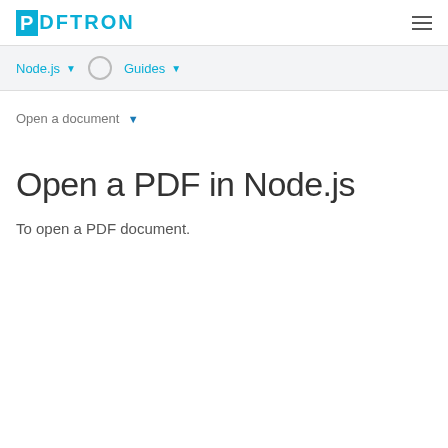PDFTRON
Node.js ▾    Guides ▾
Open a document ▾
Open a PDF in Node.js
To open a PDF document.